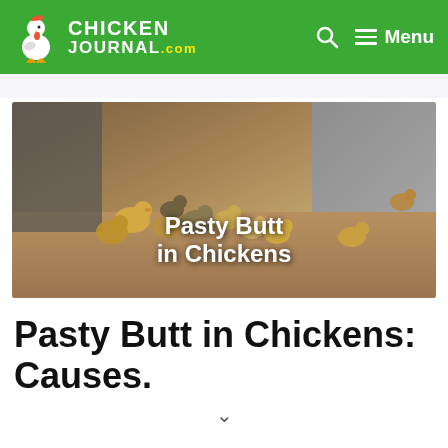CHICKEN JOURNAL.com — Menu
[Figure (photo): Baby chicks (chicks of varying sizes, yellow and brown) gathered near a concrete wall on sandy/dirt ground, with white text overlay reading 'Pasty Butt in Chickens']
Pasty Butt in Chickens: Causes.